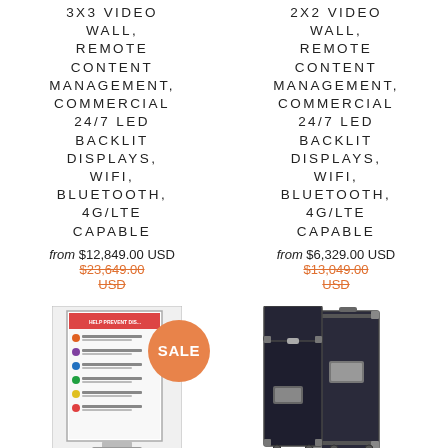3X3 VIDEO WALL, REMOTE CONTENT MANAGEMENT, COMMERCIAL 24/7 LED BACKLIT DISPLAYS, WIFI, BLUETOOTH, 4G/LTE CAPABLE
from $12,849.00 USD $23,649.00 USD
2X2 VIDEO WALL, REMOTE CONTENT MANAGEMENT, COMMERCIAL 24/7 LED BACKLIT DISPLAYS, WIFI, BLUETOOTH, 4G/LTE CAPABLE
from $6,329.00 USD $13,049.00 USD
[Figure (photo): Product display kiosk with health prevention signage and SALE badge overlay]
[Figure (photo): Black equipment cases/road cases for video wall displays]